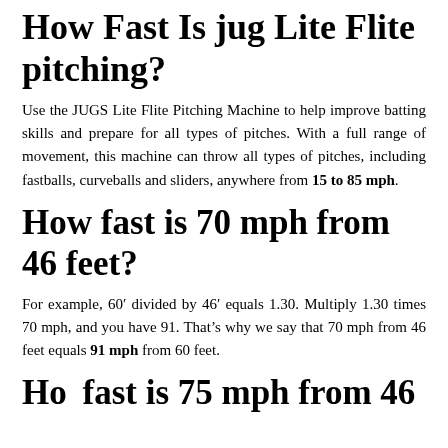How Fast Is jug Lite Flite pitching?
Use the JUGS Lite Flite Pitching Machine to help improve batting skills and prepare for all types of pitches. With a full range of movement, this machine can throw all types of pitches, including fastballs, curveballs and sliders, anywhere from 15 to 85 mph.
How fast is 70 mph from 46 feet?
For example, 60′ divided by 46′ equals 1.30. Multiply 1.30 times 70 mph, and you have 91. That’s why we say that 70 mph from 46 feet equals 91 mph from 60 feet.
How fast is 75 mph from 46...